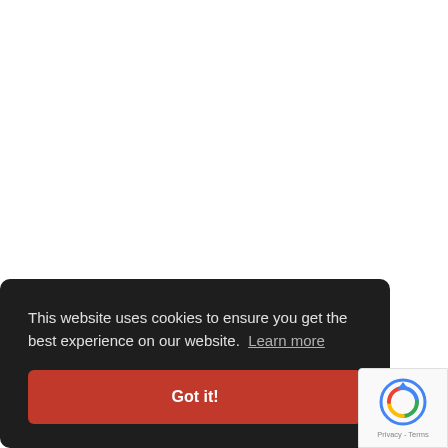This website uses cookies to ensure you get the best experience on our website. Learn more
Got it!
[Figure (logo): Google reCAPTCHA badge with spinning arrow icon and 'Privacy - Terms' text]